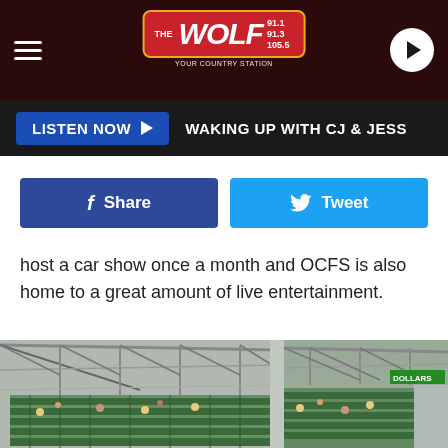THE WOLF 91.1 / 91.3 / 105.5 | LISTEN NOW | WAKING UP WITH CJ & JESS
host a car show once a month and OCFS is also home to a great amount of live entertainment.
[Figure (photo): Interior view of a covered grandstand/stadium with green seating, steel truss roof, and spectators in the stands]